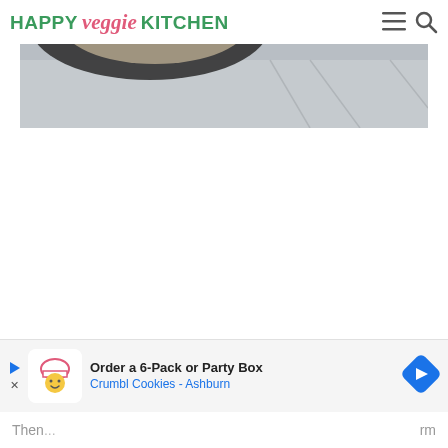HAPPY veggie KITCHEN
[Figure (photo): Partial view of a dark bowl with food (appears to be a salad or grain dish with green herbs) on a light grey/white wooden surface, photographed from above. The top portion is obscured by the website header.]
[Figure (photo): Advertisement banner: 'Order a 6-Pack or Party Box / Crumbl Cookies - Ashburn' with a cartoon chef logo icon and a blue navigation arrow icon on the right. A blue play button and X close button appear on the left side.]
Then...rm